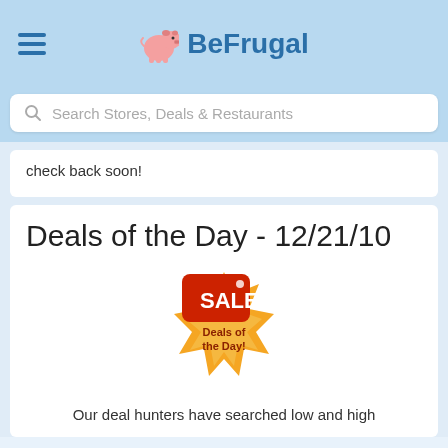BeFrugal
Search Stores, Deals & Restaurants
check back soon!
Deals of the Day - 12/21/10
[Figure (illustration): Sale tag badge with red SALE tag and orange starburst badge saying Deals of the Day!]
Our deal hunters have searched low and high